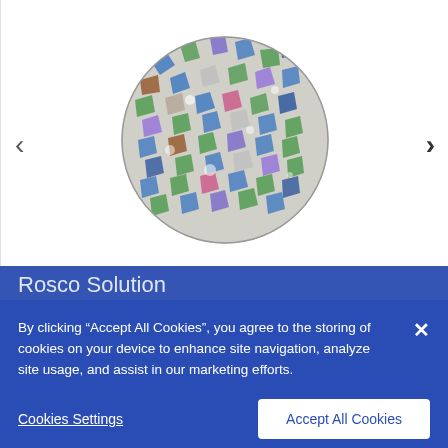[Figure (photo): Circular product sample showing colorful mosaic/confetti pattern with blue, green, purple fragments on white background, displayed as carousel with left and right navigation arrows]
Rosco Solution
By clicking “Accept All Cookies”, you agree to the storing of cookies on your device to enhance site navigation, analyze site usage, and assist in our marketing efforts.
Cookies Settings
Accept All Cookies